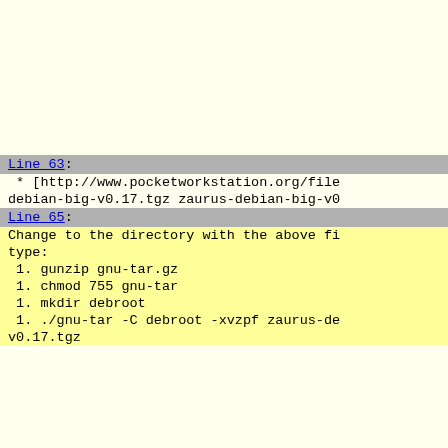Line 63:
* [http://www.pocketworkstation.org/file... debian-big-v0.17.tgz zaurus-debian-big-v0...
Line 65:
Change to the directory with the above fi... type:
1. gunzip gnu-tar.gz
1. chmod 755 gnu-tar
1. mkdir debroot
1. ./gnu-tar -C debroot -xvzpf zaurus-de... v0.17.tgz